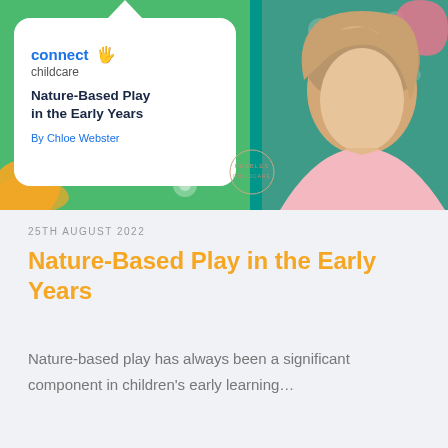[Figure (illustration): Hero banner for a childcare article. Teal/green background with decorative polka dots, a white rounded card showing the 'connect childcare' logo, article title 'Nature-Based Play in the Early Years', and author 'By Chloe Webster'. Right side shows a photo of a young woman with blonde hair against the green background. A small 'Pebbles Childcare' watermark is visible.]
25TH AUGUST 2022
Nature-Based Play in the Early Years
Nature-based play has always been a significant component in children's early learning…